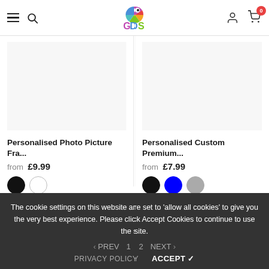[Figure (screenshot): GDS website header with hamburger menu, search icon, colorful chameleon-like GDS logo, user icon, and cart icon with badge showing 0]
Personalised Photo Picture Fra...
from £9.99
Personalised Custom Premium...
from £7.99
The cookie settings on this website are set to 'allow all cookies' to give you the very best experience. Please click Accept Cookies to continue to use the site.
PREV 1 2 NEXT
PRIVACY POLICY  ACCEPT ✓